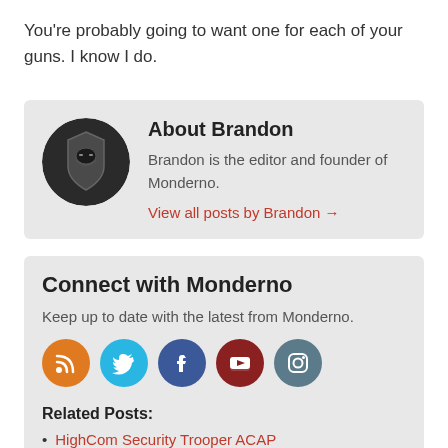You're probably going to want one for each of your guns. I know I do.
About Brandon
Brandon is the editor and founder of Monderno.
View all posts by Brandon →
Connect with Monderno
Keep up to date with the latest from Monderno.
[Figure (infographic): Social media icons: RSS (orange), Twitter (blue), Facebook (dark blue), YouTube (dark red), Instagram (blue-grey)]
Related Posts:
HighCom Security Trooper ACAP
G-Code Scorpion Mag Pouches
Blauer ArmorSkin TacVest